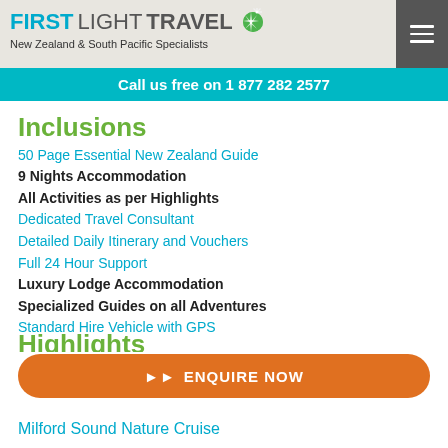FIRST LIGHT TRAVEL — New Zealand & South Pacific Specialists
Call us free on 1 877 282 2577
Inclusions
50 Page Essential New Zealand Guide
9 Nights Accommodation
All Activities as per Highlights
Dedicated Travel Consultant
Detailed Daily Itinerary and Vouchers
Full 24 Hour Support
Luxury Lodge Accommodation
Specialized Guides on all Adventures
Standard Hire Vehicle with GPS
Highlights
ENQUIRE NOW
Milford Sound Nature Cruise